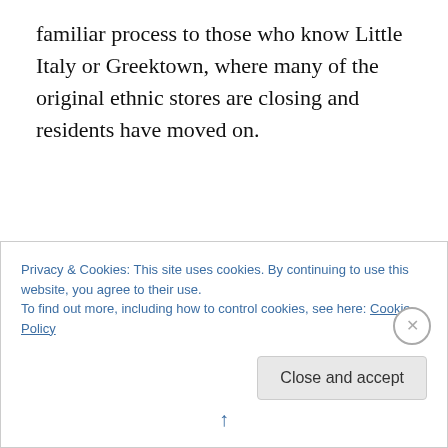familiar process to those who know Little Italy or Greektown, where many of the original ethnic stores are closing and residents have moved on.
But tolerance for social difference is limited. Another long-time resident, one of the original working-class residents who'd watched these changes with more good humour than I, reported one of new neighbours were discomfited
Privacy & Cookies: This site uses cookies. By continuing to use this website, you agree to their use.
To find out more, including how to control cookies, see here: Cookie Policy
Close and accept